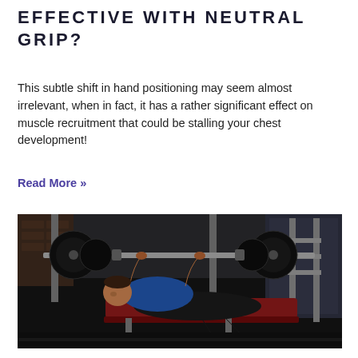EFFECTIVE WITH NEUTRAL GRIP?
This subtle shift in hand positioning may seem almost irrelevant, when in fact, it has a rather significant effect on muscle recruitment that could be stalling your chest development!
Read More »
[Figure (photo): A muscular man lying on a weight bench pressing a barbell loaded with heavy plates in a dark gym setting, viewed from foot end. He wears a blue tank top and black shorts. The barbell rack and gym equipment are visible in the background.]